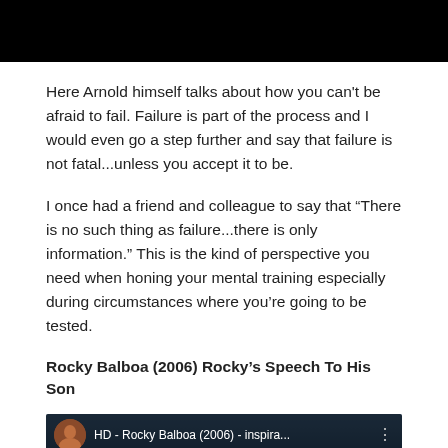[Figure (photo): Black rectangle at top of page, representing a video thumbnail or image placeholder]
Here Arnold himself talks about how you can't be afraid to fail. Failure is part of the process and I would even go a step further and say that failure is not fatal...unless you accept it to be.
I once had a friend and colleague to say that “There is no such thing as failure...there is only information.” This is the kind of perspective you need when honing your mental training especially during circumstances where you’re going to be tested.
Rocky Balboa (2006) Rocky’s Speech To His Son
[Figure (screenshot): YouTube video thumbnail for 'HD - Rocky Balboa (2006) - inspira...' showing a man's face in a dark blue-toned scene, with a circular channel avatar on the left, video title text, and a three-dot menu icon. A scroll-to-top button is visible in the bottom right corner.]